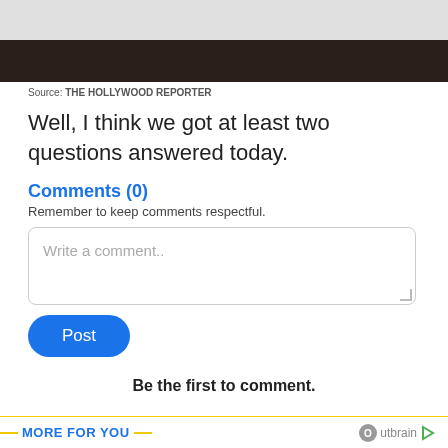[Figure (photo): Dark image strip at top of page (partial photo visible)]
Source: THE HOLLYWOOD REPORTER
Well, I think we got at least two questions answered today.
Comments (0)
Remember to keep comments respectful.
Write a comment..
Post
Be the first to comment.
MORE FOR YOU — Outbrain